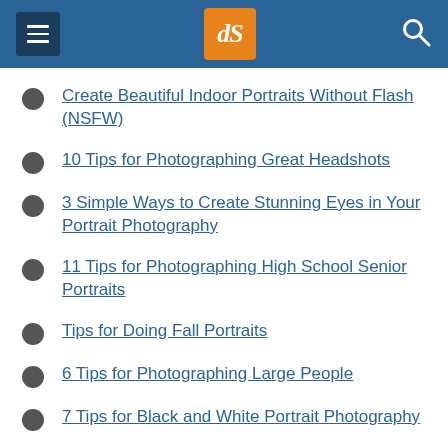dPS navigation header
Create Beautiful Indoor Portraits Without Flash (NSFW)
10 Tips for Photographing Great Headshots
3 Simple Ways to Create Stunning Eyes in Your Portrait Photography
11 Tips for Photographing High School Senior Portraits
Tips for Doing Fall Portraits
6 Tips for Photographing Large People
7 Tips for Black and White Portrait Photography
How to Create Environmental Portraits (Tips